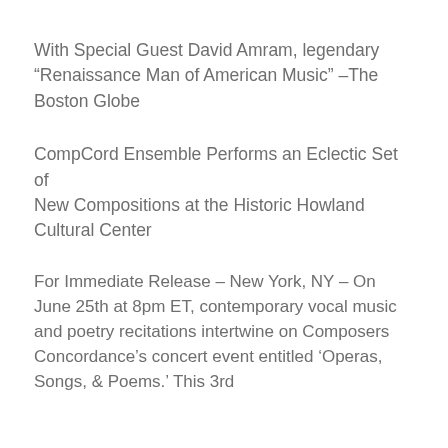With Special Guest David Amram, legendary “Renaissance Man of American Music” –The Boston Globe
CompCord Ensemble Performs an Eclectic Set of
New Compositions at the Historic Howland Cultural Center
For Immediate Release – New York, NY – On June 25th at 8pm ET, contemporary vocal music and poetry recitations intertwine on Composers Concordance’s concert event entitled ‘Operas, Songs, & Poems.’ This 3rd